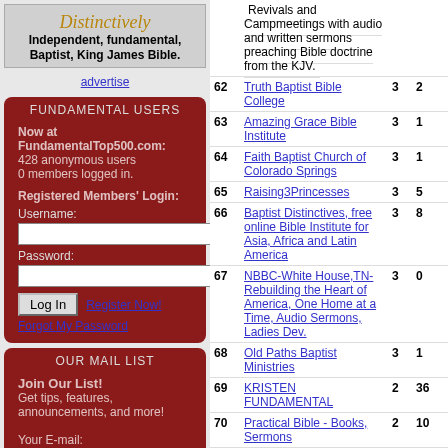[Figure (illustration): Banner with italic script 'Distinctively' and bold text 'Independent, fundamental, Baptist, King James Bible.']
advertise
FUNDAMENTAL USERS
Now at FundamentalTop500.com:
428 anonymous users
0 members logged in.
Registered Members' Login:
Username:
Password:
Log In  Register Now!
Forgot My Password
OUR MAIL LIST
Join Our List!
Get tips, features, announcements, and more!
Your E-mail:
| # | Name | Col3 | Col4 |
| --- | --- | --- | --- |
|  | Revivals and Campmeetings with audio and written sermons preaching Bible doctrine from the KJV. |  |  |
| 62 | Truth Baptist Bible College | 3 | 2 |
| 63 | Amazing Grace Bible Institute | 3 | 1 |
| 64 | Faith Baptist Church of Colorado Springs | 3 | 1 |
| 65 | Raising3Princesses | 3 | 5 |
| 66 | Baptist Distinctives, free online Bible Institute for Asia, Africa and Latin America | 3 | 8 |
| 67 | NBBC-White House,TN- Rebuilding the Heart of America, One Home at a Time, Audio Sermons, Ladies Dev. | 3 | 0 |
| 68 | Old Paths Baptist Ministries | 3 | 1 |
| 69 | KRISTEN FUNDAMENTAL | 2 | 36 |
| 70 | Practical Bible - Books, Sermons | 2 | 10 |
| 71 | THE OPEN DOOR BAPTIST CHURCH | 2 | 1 |
| 72 | BILL BLOUNT MINISTRIES | 2 | 1 |
| 73 | Faithful Word Baptist Church | 2 | 5 |
| 74 | Online Churches - A Resource for getting your ministry online. | 2 | 4 |
| 75 | The Power Of Truth | 2 | 4 |
| 76 | Watch The Tower - Former Jehovah's Witness site | 2 | 1 |
| 77 | Come up Hither - ( You will be Amazed ) | 2 | 0 |
| 78 | Old Fashioned Christian Music Radio + Online Music Store 5.00 stars | 2 | 0 |